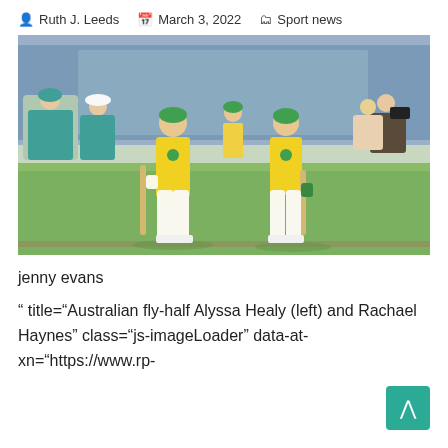Ruth J. Leeds   March 3, 2022   Sport news
[Figure (photo): Two Australian women cricketers in yellow uniforms standing on a green cricket ground with spectators seated in blue chairs in the background.]
jenny evans
" title="Australian fly-half Alyssa Healy (left) and Rachael Haynes" class="js-imageLoader" data-at-xn="https://www.rp-